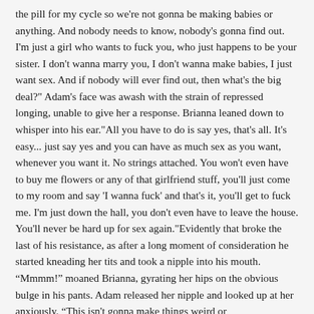the pill for my cycle so we're not gonna be making babies or anything. And nobody needs to know, nobody's gonna find out. I'm just a girl who wants to fuck you, who just happens to be your sister. I don't wanna marry you, I don't wanna make babies, I just want sex. And if nobody will ever find out, then what's the big deal?" Adam's face was awash with the strain of repressed longing, unable to give her a response. Brianna leaned down to whisper into his ear."All you have to do is say yes, that's all. It's easy... just say yes and you can have as much sex as you want, whenever you want it. No strings attached. You won't even have to buy me flowers or any of that girlfriend stuff, you'll just come to my room and say 'I wanna fuck' and that's it, you'll get to fuck me. I'm just down the hall, you don't even have to leave the house. You'll never be hard up for sex again."Evidently that broke the last of his resistance, as after a long moment of consideration he started kneading her tits and took a nipple into his mouth. “Mmmm!” moaned Brianna, gyrating her hips on the obvious bulge in his pants. Adam released her nipple and looked up at her anxiously. “This isn't gonna make things weird or